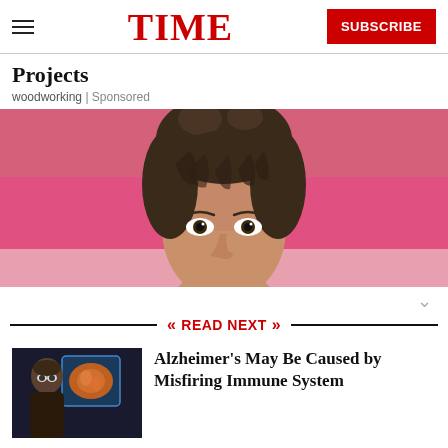TIME | SUBSCRIBE
Projects
woodworking | Sponsored
[Figure (photo): Close-up of a young woman's face peeking over a pink surface, looking at the camera, with dark hair styled up with bangs.]
READ NEXT
[Figure (photo): Thumbnail image showing a person looking at a brain scan display.]
Alzheimer's May Be Caused by Misfiring Immune System